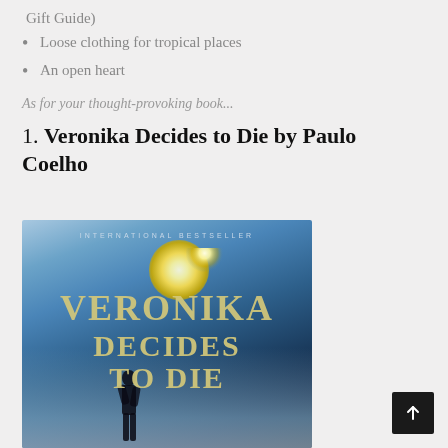Gift Guide)
Loose clothing for tropical places
An open heart
As for your thought-provoking book...
1. Veronika Decides to Die by Paulo Coelho
[Figure (photo): Book cover of Veronika Decides to Die by Paulo Coelho — a blue-toned atmospheric cover showing VERONIKA DECIDES TO DIE in large golden serif letters, with INTERNATIONAL BESTSELLER at the top and a silhouette of a person at the bottom.]